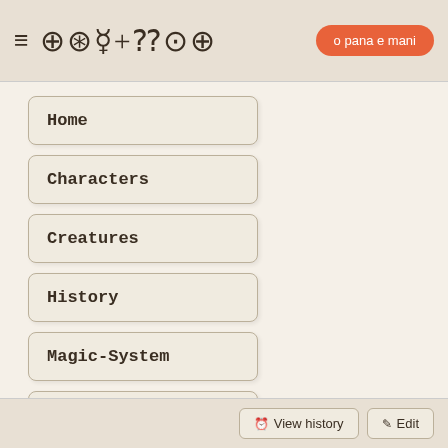≡ [glyphs logo] o pana e mani
Home
Characters
Creatures
History
Magic-System
Places
Time-system
View history  Edit